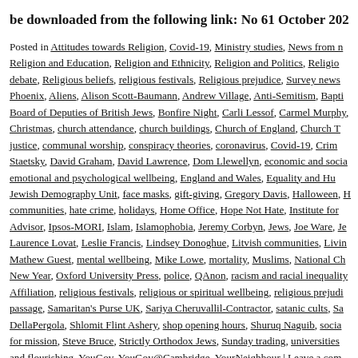be downloaded from the following link: No 61 October 202
Posted in Attitudes towards Religion, Covid-19, Ministry studies, News from r..., Religion and Education, Religion and Ethnicity, Religion and Politics, Religio..., debate, Religious beliefs, religious festivals, Religious prejudice, Survey news..., Phoenix, Aliens, Alison Scott-Baumann, Andrew Village, Anti-Semitism, Bapti..., Board of Deputies of British Jews, Bonfire Night, Carli Lessof, Carmel Murphy,..., Christmas, church attendance, church buildings, Church of England, Church T..., justice, communal worship, conspiracy theories, coronavirus, Covid-19, Crim..., Staetsky, David Graham, David Lawrence, Dom Llewellyn, economic and socia..., emotional and psychological wellbeing, England and Wales, Equality and Hu..., Jewish Demography Unit, face masks, gift-giving, Gregory Davis, Halloween, H..., communities, hate crime, holidays, Home Office, Hope Not Hate, Institute for..., Advisor, Ipsos-MORI, Islam, Islamophobia, Jeremy Corbyn, Jews, Joe Ware, Je..., Laurence Lovat, Leslie Francis, Lindsey Donoghue, Litvish communities, Livin..., Mathew Guest, mental wellbeing, Mike Lowe, mortality, Muslims, National Ch..., New Year, Oxford University Press, police, QAnon, racism and racial inequality..., Affiliation, religious festivals, religious or spiritual wellbeing, religious prejudi..., passage, Samaritan's Purse UK, Sariya Cheruvallil-Contractor, satanic cults, Sa..., DellaPergola, Shlomit Flint Ashery, shop opening hours, Shuruq Naguib, socia..., for mission, Steve Bruce, Strictly Orthodox Jews, Sunday trading, universities..., and flourishing, YouGov, YouGov@Cambridge, YourNeighbour | Leave a com...